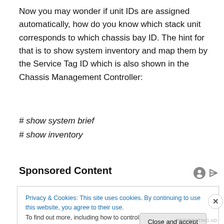Now you may wonder if unit IDs are assigned automatically, how do you know which stack unit corresponds to which chassis bay ID. The hint for that is to show system inventory and map them by the Service Tag ID which is also shown in the Chassis Management Controller:
# show system brief
# show inventory
Sponsored Content
Privacy & Cookies: This site uses cookies. By continuing to use this website, you agree to their use.
To find out more, including how to control cookies, see here: Cookie Policy
REDIRECTING AD